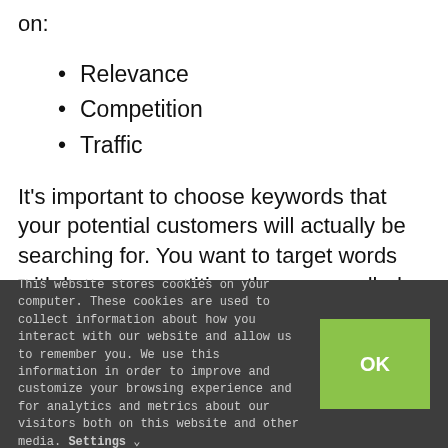on:
Relevance
Competition
Traffic
It's important to choose keywords that your potential customers will actually be searching for. You want to target words with lower competition, these are called easy win keywords. By mixing these keywords with higher competitor keywords you can create a well rounded
This website stores cookies on your computer. These cookies are used to collect information about how you interact with our website and allow us to remember you. We use this information in order to improve and customize your browsing experience and for analytics and metrics about our visitors both on this website and other media. Settings